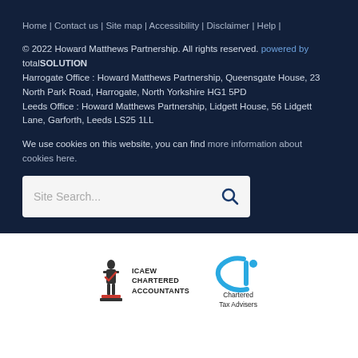Home | Contact us | Site map | Accessibility | Disclaimer | Help |
© 2022 Howard Matthews Partnership. All rights reserved. powered by totalSOLUTION
Harrogate Office : Howard Matthews Partnership, Queensgate House, 23 North Park Road, Harrogate, North Yorkshire HG1 5PD
Leeds Office : Howard Matthews Partnership, Lidgett House, 56 Lidgett Lane, Garforth, Leeds LS25 1LL
We use cookies on this website, you can find more information about cookies here.
[Figure (screenshot): Site Search box with placeholder text 'Site Search...' and a search icon on the right]
[Figure (logo): ICAEW Chartered Accountants logo and Chartered Tax Advisers (cIo) logo side by side]